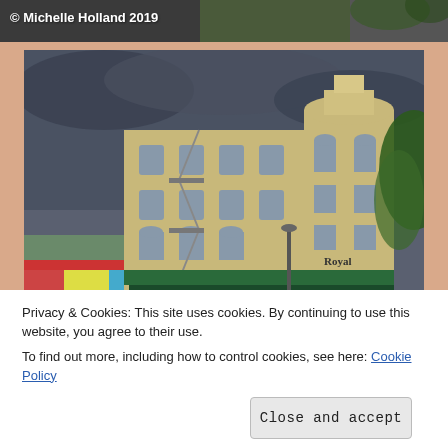[Figure (photo): Partial top photo strip showing colorful scene, with copyright watermark '© Michelle Holland 2019' overlaid in white text]
[Figure (photo): Photo of a large multi-story historic tan/beige brick building with arched windows, a rounded corner tower, fire escapes, and green awnings at street level. Storefront reads 'Royal'. Dark stormy sky above. Trees visible on right. Low partial watermark visible at bottom left.]
Privacy & Cookies: This site uses cookies. By continuing to use this website, you agree to their use.
To find out more, including how to control cookies, see here: Cookie Policy
[Figure (photo): Partial bottom photo strip showing green foliage, urban buildings, and other scenes]